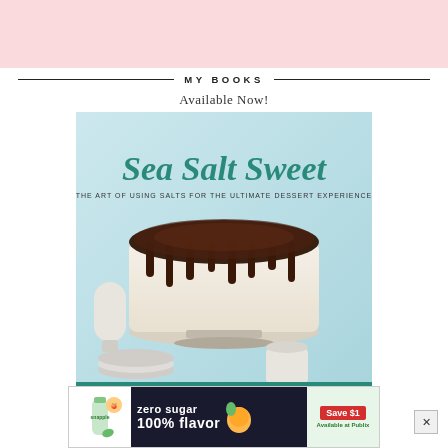[Figure (illustration): Pink decorative banner strip at top of page]
MY BOOKS
Available Now!
[Figure (photo): Book cover for 'Sea Salt Sweet: The Art of Using Salts for the Ultimate Dessert Experience' by Heather Baird. Shows a white frosted chocolate drip cake on a stand surrounded by baking props on a light blue background.]
[Figure (other): Advertisement banner: Snapple zero sugar 100% flavor, Save $1, Available at Publix]